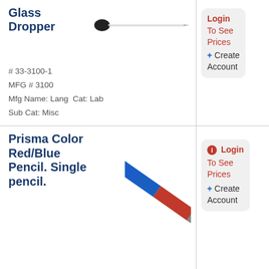Glass Dropper
[Figure (photo): Glass dropper product image, horizontal orientation with black rubber bulb on left and long clear glass tube on right]
# 33-3100-1
MFG # 3100
Mfg Name: Lang  Cat: Lab
Sub Cat: Misc
Login To See Prices + Create Account
Prisma Color Red/Blue Pencil. Single pencil.
[Figure (photo): Red and blue colored pencil at diagonal angle, blue end at top right and red/orange sharpened tip at bottom left]
# 190-2456   MFG # 2456
Mfg Name: House Brand
Cat: X-Ray  Sub Cat: Misc
Login To See Prices + Create Account